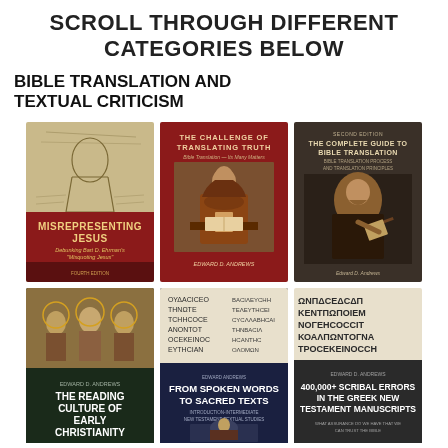SCROLL THROUGH DIFFERENT CATEGORIES BELOW
BIBLE TRANSLATION AND TEXTUAL CRITICISM
[Figure (illustration): Grid of 6 book covers on Bible Translation and Textual Criticism: Misrepresenting Jesus (Edward D. Andrews), The Challenge of Translating Truth (Edward D. Andrews), The Complete Guide to Bible Translation (Edward D. Andrews), The Reading Culture of Early Christianity (Edward D. Andrews), From Spoken Words to Sacred Texts (Edward D. Andrews), 400,000+ Scribal Errors in the Greek New Testament Manuscripts (Edward D. Andrews)]